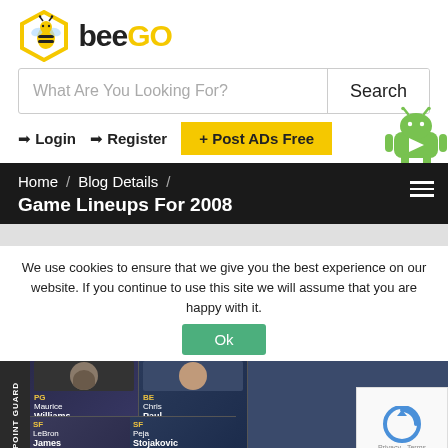[Figure (logo): BeeGo logo with bee icon in hexagon and text 'beeGO' where 'GO' is yellow]
[Figure (screenshot): Search bar with placeholder 'What Are You Looking For?' and Search button]
➡ Login   ➡ Register   + Post ADs Free
[Figure (logo): Android robot mascot icon (green)]
Home / Blog Details / Game Lineups For 2008
Game Lineups For 2008
We use cookies to ensure that we give you the best experience on our website. If you continue to use this site we will assume that you are happy with it.
[Figure (screenshot): NBA player card lineup showing Maurice Williams (PG, 6'1, 185, Overall: 81), Chris Paul (6'0, Overall: 9x), LeBron James (SF), Peja Stojakovic (SF)]